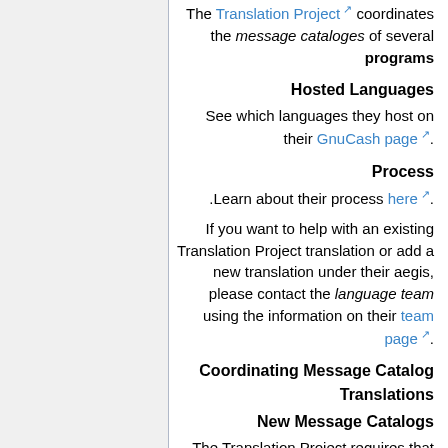The Translation Project coordinates the message cataloges of several programs
Hosted Languages
See which languages they host on their GnuCash page.
Process
Learn about their process here.
If you want to help with an existing Translation Project translation or add a new translation under their aegis, please contact the language team using the information on their team page.
Coordinating Message Catalog Translations
New Message Catalogs
The Translation Project requires that you use either an existing translation or gnucash.pot from